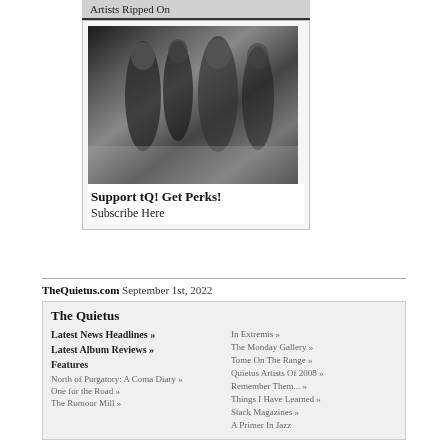Artists Ripped On
[Figure (photo): Black and white photograph of people dancing at what appears to be a club or party event]
Support tQ! Get Perks! Subscribe Here
TheQuietus.com September 1st, 2022
The Quietus
Latest News Headlines »
Latest Album Reviews »
Features
North of Purgatory: A Coma Diary »
One for the Road »
The Rumour Mill »
In Extremis »
The Monday Gallery »
Tome On The Range »
Quietus Artists Of 2008 »
Remember Them... »
Things I Have Learned »
Stack Magazines »
A Primer In Jazz